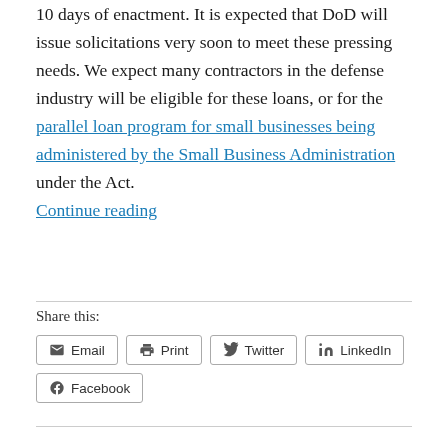10 days of enactment. It is expected that DoD will issue solicitations very soon to meet these pressing needs. We expect many contractors in the defense industry will be eligible for these loans, or for the parallel loan program for small businesses being administered by the Small Business Administration under the Act. Continue reading
Share this:
Email | Print | Twitter | LinkedIn | Facebook